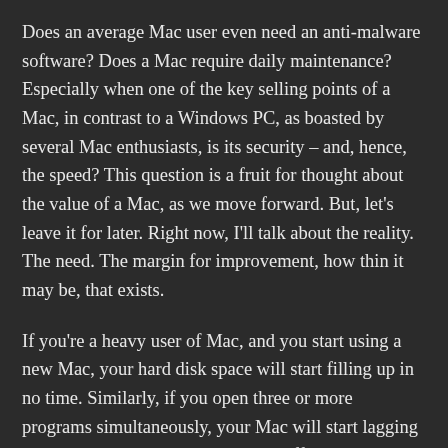Does an average Mac user even need an anti-malware software? Does a Mac require daily maintenance? Especially when one of the key selling points of a Mac, in contrast to a Windows PC, as boasted by several Mac enthusiasts, is its security – and, hence, the speed? This question is a fruit for thought about the value of a Mac, as we move forward. But, let's leave it for later. Right now, I'll talk about the reality. The need. The margin for improvement, how thin it may be, that exists.
If you're a heavy user of Mac, and you start using a new Mac, your hard disk space will start filling up in no time. Similarly, if you open three or more programs simultaneously, your Mac will start lagging very soon. On a new machine, the difference is not very noticeable, but over time you start to feel the lag. We can point out several other areas of improvement in the performance of an